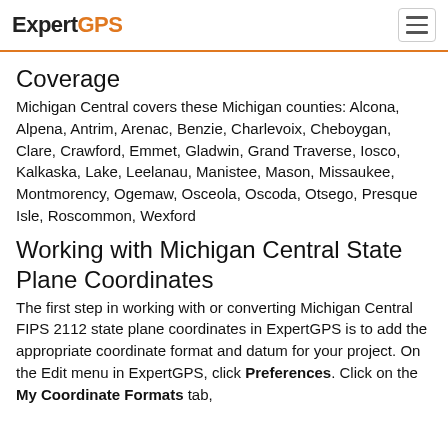ExpertGPS
Coverage
Michigan Central covers these Michigan counties: Alcona, Alpena, Antrim, Arenac, Benzie, Charlevoix, Cheboygan, Clare, Crawford, Emmet, Gladwin, Grand Traverse, Iosco, Kalkaska, Lake, Leelanau, Manistee, Mason, Missaukee, Montmorency, Ogemaw, Osceola, Oscoda, Otsego, Presque Isle, Roscommon, Wexford
Working with Michigan Central State Plane Coordinates
The first step in working with or converting Michigan Central FIPS 2112 state plane coordinates in ExpertGPS is to add the appropriate coordinate format and datum for your project. On the Edit menu in ExpertGPS, click Preferences. Click on the My Coordinate Formats tab,